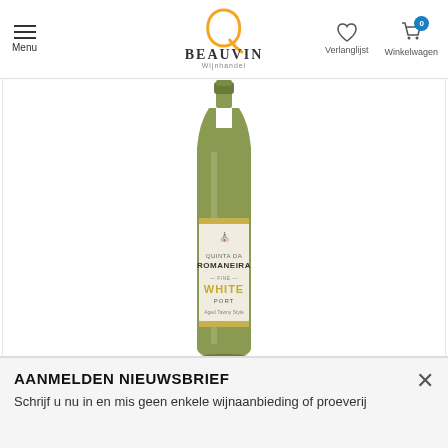Menu | BeauVin Wijnhandel | Verlanglijst | Winkelwagen 0
[Figure (photo): Bottle of Quinta da Romaneira Fine White Port wine, green glass bottle with white label showing 'ROMANEIRA FINE WHITE PORT']
Quinta da Romaneira Fine White Port
Smaakprofiel
Zacht, rijk
Herkomst
Portugal - Douro
Licht goudgele Port met een subtiele geur van gekonfijte
AANMELDEN NIEUWSBRIEF
Schrijf u nu in en mis geen enkele wijnaanbieding of proeverij